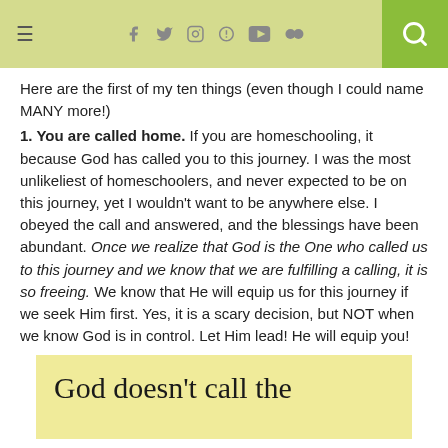≡  [social icons: facebook, twitter, instagram, pinterest, youtube, soundcloud]  [search]
Here are the first of my ten things (even though I could name MANY more!)
1. You are called home. If you are homeschooling, it because God has called you to this journey. I was the most unlikeliest of homeschoolers, and never expected to be on this journey, yet I wouldn't want to be anywhere else. I obeyed the call and answered, and the blessings have been abundant. Once we realize that God is the One who called us to this journey and we know that we are fulfilling a calling, it is so freeing. We know that He will equip us for this journey if we seek Him first. Yes, it is a scary decision, but NOT when we know God is in control. Let Him lead! He will equip you!
[Figure (infographic): Yellow/cream colored box with large text reading 'God doesn't call the' (partial, cut off at bottom)]